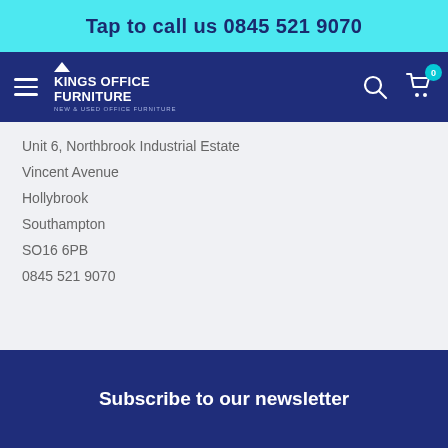Tap to call us 0845 521 9070
[Figure (logo): Kings Office Furniture logo — white text on navy background with hamburger menu, search and cart icons]
Unit 6, Northbrook Industrial Estate
Vincent Avenue
Hollybrook
Southampton
SO16 6PB
0845 521 9070
Subscribe to our newsletter